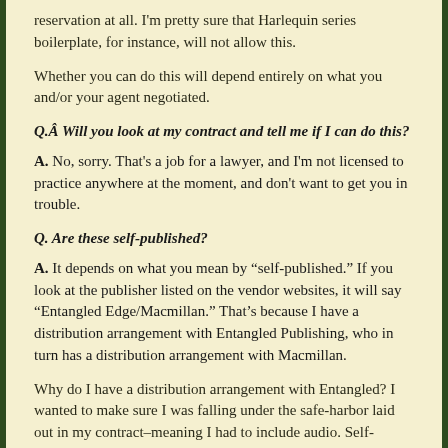reservation at all. I'm pretty sure that Harlequin series boilerplate, for instance, will not allow this.
Whether you can do this will depend entirely on what you and/or your agent negotiated.
Q.Â Will you look at my contract and tell me if I can do this?
A. No, sorry. That's a job for a lawyer, and I'm not licensed to practice anywhere at the moment, and don't want to get you in trouble.
Q. Are these self-published?
A. It depends on what you mean by “self-published.” If you look at the publisher listed on the vendor websites, it will say “Entangled Edge/Macmillan.” That’s because I have a distribution arrangement with Entangled Publishing, who in turn has a distribution arrangement with Macmillan.
Why do I have a distribution arrangement with Entangled? I wanted to make sure I was falling under the safe-harbor laid out in my contract–meaning I had to include audio. Self-publishers cannot publish books to Amazon or Barnes and Noble with audio in them, so I have a distribution arrangement with Entangled to send them out.
I produced the files and covers entirely on my own, and granted Entangled a nonexclusive license to distribute them. [ETA: As a sidenote, I asked Kristin to negotiate that agreement as well, and she made sure we stuck